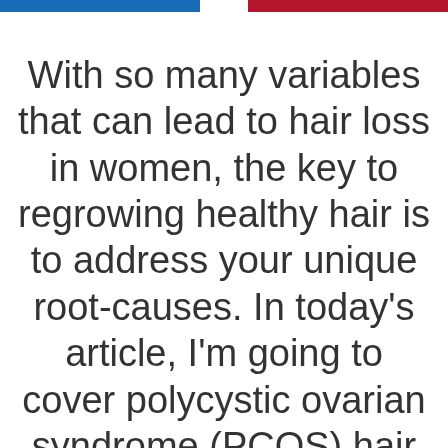[Figure (other): Two horizontal colored bars at top: a blue bar on the left and a red bar on the right with a white gap between them]
With so many variables that can lead to hair loss in women, the key to regrowing healthy hair is to address your unique root-causes. In today's article, I'm going to cover polycystic ovarian syndrome (PCOS) hair loss and talk more